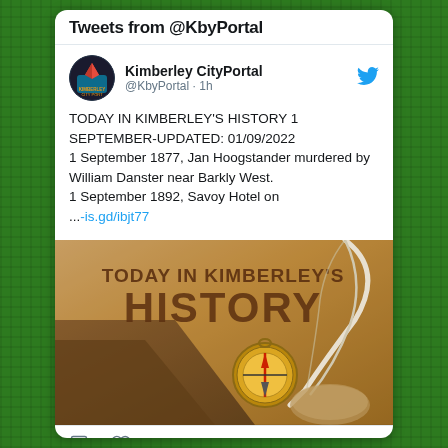Tweets from @KbyPortal
Kimberley CityPortal @KbyPortal · 1h
TODAY IN KIMBERLEY'S HISTORY 1 SEPTEMBER-UPDATED: 01/09/2022
1 September 1877, Jan Hoogstander murdered by William Danster near Barkly West.
1 September 1892, Savoy Hotel on ...-is.gd/ibjt77
[Figure (photo): Decorative image showing 'TODAY IN KIMBERLEY'S HISTORY' text on a vintage parchment background with a compass and quill pen]